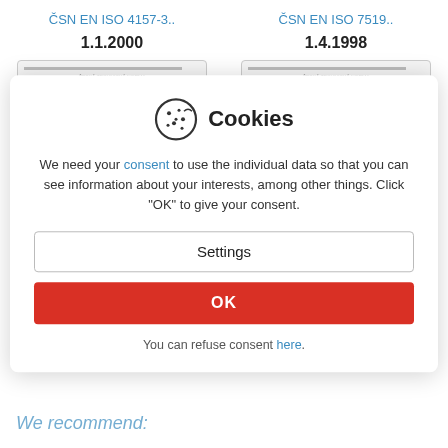ČSN EN ISO 4157-3..
1.1.2000
[Figure (screenshot): Thumbnail of Czech technical standard document ČSN EN ISO 4157-3 with photo watermark]
ČSN EN ISO 7519..
1.4.1998
[Figure (screenshot): Thumbnail of Czech technical standard document ČSN EN ISO 7519 with photo watermark]
[Figure (infographic): Cookie consent dialog overlay with cookie icon, Settings button, OK button, and refuse link]
We need your consent to use the individual data so that you can see information about your interests, among other things. Click "OK" to give your consent.
Settings
OK
You can refuse consent here.
We recommend: